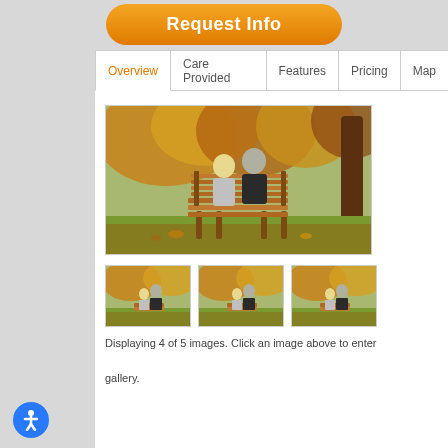Request Info
Overview | Care Provided | Features | Pricing | Map
[Figure (photo): Elderly couple sitting on a wooden bench viewed from behind in an autumn park with colorful trees]
[Figure (photo): Thumbnail 1: Elderly couple on bench in autumn park]
[Figure (photo): Thumbnail 2: Elderly couple on bench in autumn park]
[Figure (photo): Thumbnail 3: Elderly couple on bench in autumn park]
Displaying 4 of 5 images. Click an image above to enter gallery.